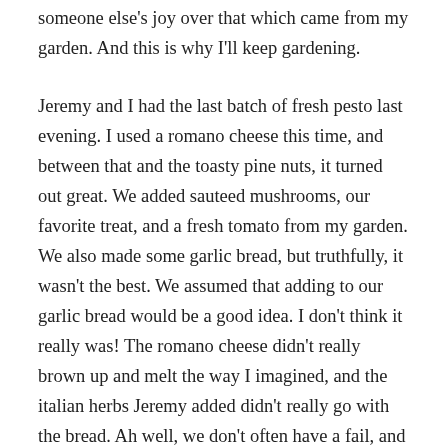someone else's joy over that which came from my garden. And this is why I'll keep gardening.
Jeremy and I had the last batch of fresh pesto last evening. I used a romano cheese this time, and between that and the toasty pine nuts, it turned out great. We added sauteed mushrooms, our favorite treat, and a fresh tomato from my garden. We also made some garlic bread, but truthfully, it wasn't the best. We assumed that adding to our garlic bread would be a good idea. I don't think it really was! The romano cheese didn't really brown up and melt the way I imagined, and the italian herbs Jeremy added didn't really go with the bread. Ah well, we don't often have a fail, and even this wasn't a real fail, just not as good as we had imagined. Tonight we are going to have to fry up some of the eggplant. I'll roast one too so I have some baba ghanoush hanging around.